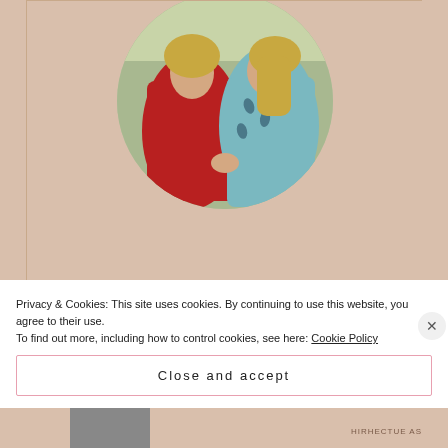[Figure (photo): Circular cropped photograph of two women, one in red and one in light blue with leaf print, outdoors with greenery.]
HELLO
Privacy & Cookies: This site uses cookies. By continuing to use this website, you agree to their use.
To find out more, including how to control cookies, see here: Cookie Policy
Close and accept
HIRHECTUE AS